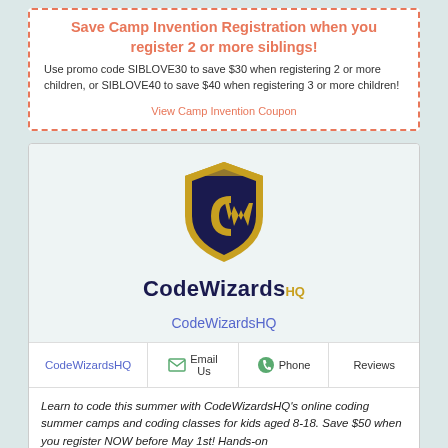Save Camp Invention Registration when you register 2 or more siblings!
Use promo code SIBLOVE30 to save $30 when registering 2 or more children, or SIBLOVE40 to save $40 when registering 3 or more children!
View Camp Invention Coupon
[Figure (logo): CodeWizardsHQ shield logo — gold and navy blue shield with stylized CW letters]
CodeWizardsHQ
CodeWizardsHQ
| CodeWizardsHQ | Email Us | Phone | Reviews |
| --- | --- | --- | --- |
Learn to code this summer with CodeWizardsHQ's online coding summer camps and coding classes for kids aged 8-18. Save $50 when you register NOW before May 1st! Hands-on